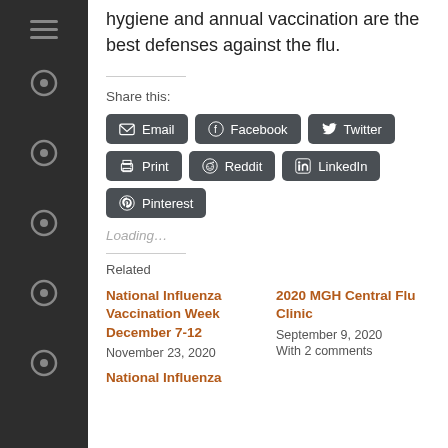hygiene and annual vaccination are the best defenses against the flu.
Share this:
[Figure (screenshot): Social share buttons: Email, Facebook, Twitter, Print, Reddit, LinkedIn, Pinterest]
Loading…
Related
National Influenza Vaccination Week December 7-12
November 23, 2020
2020 MGH Central Flu Clinic
September 9, 2020
With 2 comments
National Influenza